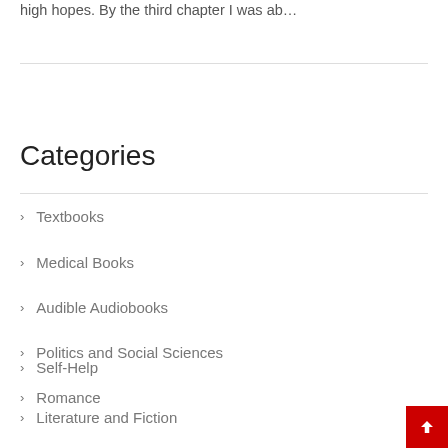high hopes. By the third chapter I was ab…
Categories
Textbooks
Medical Books
Audible Audiobooks
Politics and Social Sciences
Romance
Self-Help
Literature and Fiction